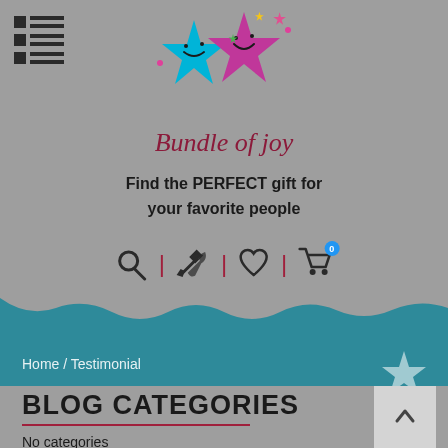[Figure (logo): Bundle of Joy logo with two smiling stars (one blue, one pink/magenta) and colorful small stars around them]
Bundle of joy
Find the PERFECT gift for your favorite people
[Figure (infographic): Navigation icon bar with search, tools/settings, heart/wishlist, and shopping cart icons separated by vertical red lines]
[Figure (illustration): Teal wavy banner with breadcrumb navigation and star decoration]
Home / Testimonial
BLOG CATEGORIES
No categories